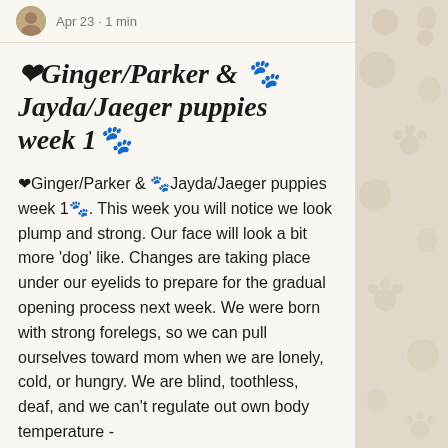Apr 23 · 1 min
❤Ginger/Parker & 🐾Jayda/Jaeger puppies week 1🐾
❤Ginger/Parker & 🐾Jayda/Jaeger puppies week 1🐾. This week you will notice we look plump and strong. Our face will look a bit more 'dog' like. Changes are taking place under our eyelids to prepare for the gradual opening process next week. We were born with strong forelegs, so we can pull ourselves toward mom when we are lonely, cold, or hungry. We are blind, toothless, deaf, and we can't regulate out own body temperature -